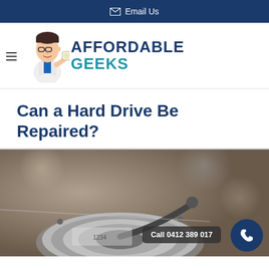Email Us
[Figure (logo): Affordable Geeks logo with cartoon doctor mascot and bold text 'AFFORDABLE GEEKS']
Can a Hard Drive Be Repaired?
[Figure (photo): Close-up photo of a hard drive's internal components with metallic platters and read/write head. Overlaid call-to-action badge reading 'Call 0412 389 017' and a dark blue phone icon circle.]